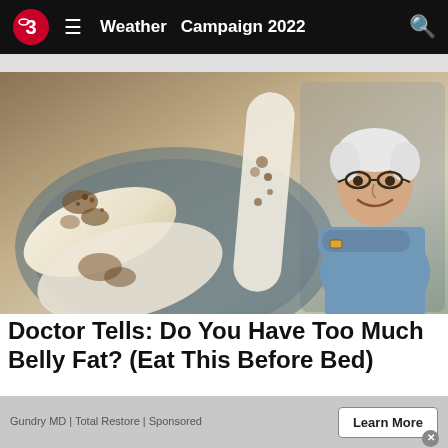Weather  Campaign 2022
[Figure (photo): Flat bread or crepes on a plate with brown spices/seeds, and a smiling older man with white hair and glasses wearing a blue shirt with arms crossed, standing to the right]
Doctor Tells: Do You Have Too Much Belly Fat? (Eat This Before Bed)
Gundry MD | Total Restore | Sponsored
Learn More